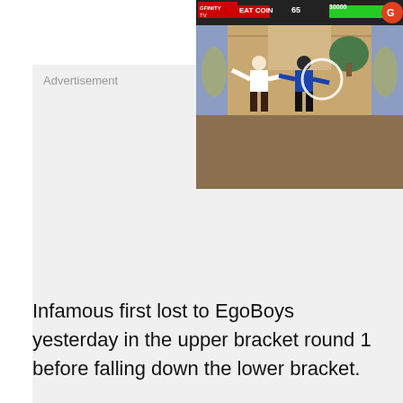[Figure (screenshot): Video game screenshot showing fighting game (Mortal Kombat style) with two characters fighting, HUD showing health bars and score, with GFINITY TV EAT COIN overlay and channel G logo in top right]
Advertisement
Infamous first lost to EgoBoys yesterday in the upper bracket round 1 before falling down the lower bracket.